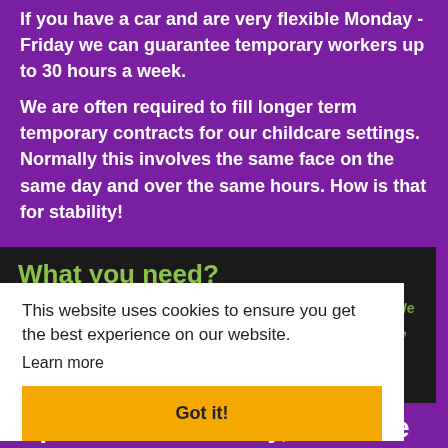If you have a car and are very flexible Monday - Friday we can guarantee temporary workers up to 30 hours a week.
We are often required to fill longer term temporary contracts for our childcare settings. Normally this involves the same face on the same day and over the same hours. How is that for stability!
What you need?
3 months experience working within a childcare setting. We appreciate you might not have worked in a nursery before, so therefore, if you've previously worked in a primary school or been a nanny we'd be happy to talk to you.
This website uses cookies to ensure you get the best experience on our website.
Learn more
Got it!
Apart from flexibility, how else